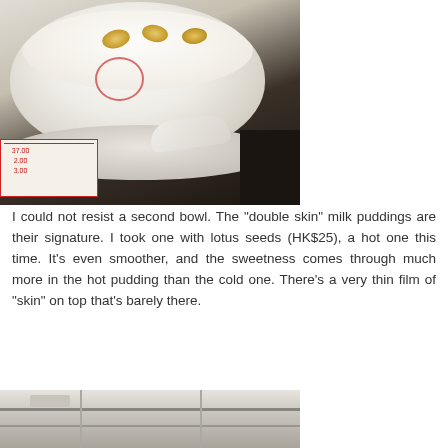[Figure (photo): Close-up photo of a white ceramic bowl containing double skin milk pudding with lotus seeds on top, sitting on a white saucer with a spoon, placed on a checkered menu/receipt with prices visible (37.00, 2.00, 3.00). Dark background visible behind the bowl.]
I could not resist a second bowl. The "double skin" milk puddings are their signature. I took one with lotus seeds (HK$25), a hot one this time. It's even smoother, and the sweetness comes through much more in the hot pudding than the cold one. There's a very thin film of "skin" on top that's barely there.
[Figure (photo): Partial photo at bottom of page showing what appears to be a restaurant interior with shelving or display cases, cropped at the bottom edge.]